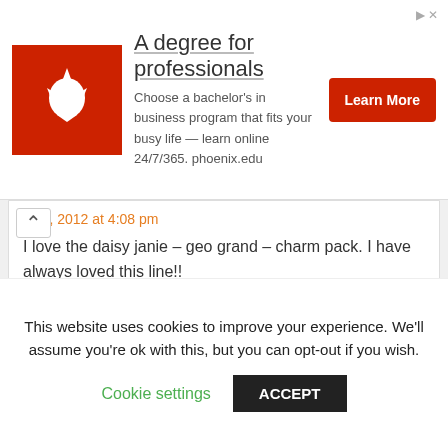[Figure (infographic): Advertisement banner for University of Phoenix: red logo with phoenix bird, text 'A degree for professionals', subtext 'Choose a bachelor's in business program that fits your busy life — learn online 24/7/365. phoenix.edu', and a red 'Learn More' button.]
ch 7, 2012 at 4:08 pm
I love the daisy janie – geo grand – charm pack. I have always loved this line!!
Reply
Melissa @ Happy Quilting says
March 7, 2012 at 4:08 pm
I follow C.C. on twitter
This website uses cookies to improve your experience. We'll assume you're ok with this, but you can opt-out if you wish.
Cookie settings
ACCEPT